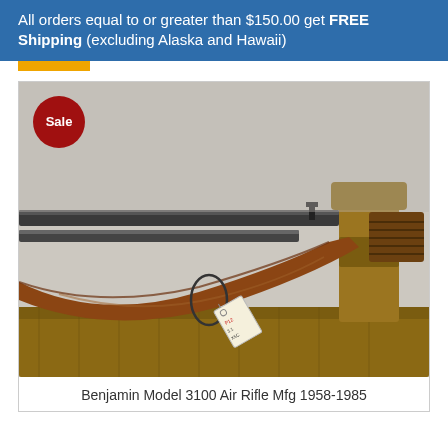All orders equal to or greater than $150.00 get FREE Shipping (excluding Alaska and Hawaii)
[Figure (photo): Photo of a Benjamin Model 3100 Air Rifle displayed on a wooden gun stand. The rifle has a wooden stock and dark metal barrel. A price tag hangs from the trigger area. A red 'Sale' badge is overlaid in the upper-left corner of the image.]
Benjamin Model 3100 Air Rifle Mfg 1958-1985